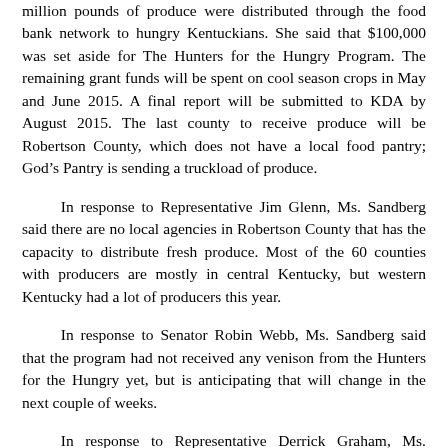million pounds of produce were distributed through the food bank network to hungry Kentuckians. She said that $100,000 was set aside for The Hunters for the Hungry Program. The remaining grant funds will be spent on cool season crops in May and June 2015. A final report will be submitted to KDA by August 2015. The last county to receive produce will be Robertson County, which does not have a local food pantry; God's Pantry is sending a truckload of produce.
In response to Representative Jim Glenn, Ms. Sandberg said there are no local agencies in Robertson County that has the capacity to distribute fresh produce. Most of the 60 counties with producers are mostly in central Kentucky, but western Kentucky had a lot of producers this year.
In response to Senator Robin Webb, Ms. Sandberg said that the program had not received any venison from the Hunters for the Hungry yet, but is anticipating that will change in the next couple of weeks.
In response to Representative Derrick Graham, Ms. Sandberg said that producers are directed to contact a local